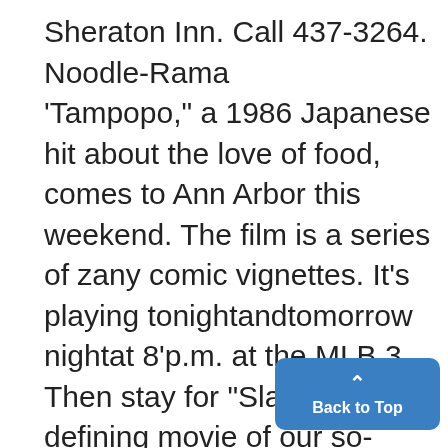Sheraton Inn. Call 437-3264.
Noodle-Rama
'Tampopo," a 1986 Japanese hit about the love of food, comes to Ann Arbor this weekend. The film is a series of zany comic vignettes. It's playing tonightandtomorrow nightat 8'p.m. at the MLB 3. Then stay for "Slacker,' the defining movie of our so-called "Generation X."It's about a bunch of college students who just sort of hang out and offer their losophies on the art of film and thing else for anyone who'll care to